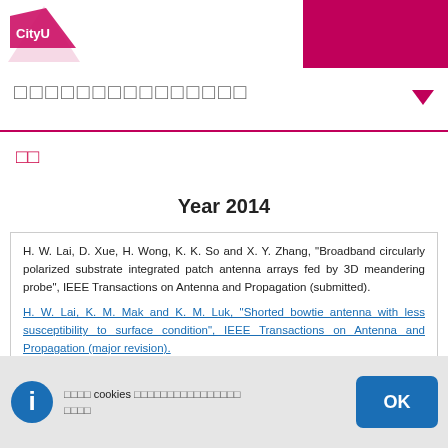CityU [header with logo and pink block]
□□□□□□□□□□□□□□□
□□
Year 2014
H. W. Lai, D. Xue, H. Wong, K. K. So and X. Y. Zhang, "Broadband circularly polarized substrate integrated patch antenna arrays fed by 3D meandering probe", IEEE Transactions on Antenna and Propagation (submitted).
H. W. Lai, K. M. Mak and K. M. Luk, "Shorted bowtie antenna with less susceptibility to surface condition", IEEE Transactions on Antenna and Propagation (major revision).
□□□□ cookies □□□□□□□□□□□□□□□□ □□□□